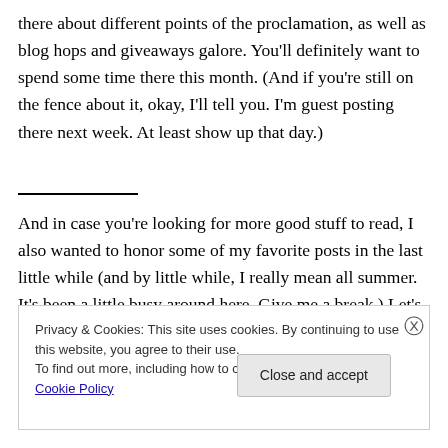there about different points of the proclamation, as well as blog hops and giveaways galore.  You'll definitely want to spend some time there this month.  (And if you're still on the fence about it, okay, I'll tell you.  I'm guest posting there next week.  At least show up that day.)
And in case you're looking for more good stuff to read, I also wanted to honor some of my favorite posts in the last little while (and by little while, I really mean all summer. It's been a little busy around here. Give me a break.)  Let's
Privacy & Cookies: This site uses cookies. By continuing to use this website, you agree to their use.
To find out more, including how to control cookies, see here: Cookie Policy